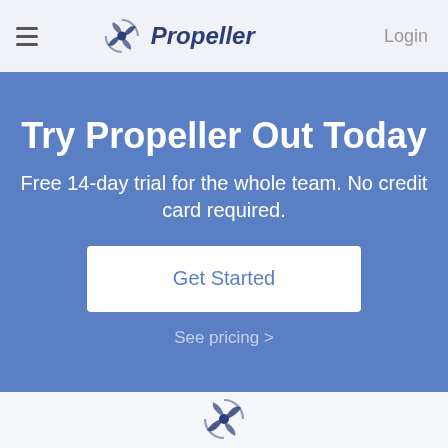Propeller | Login
Try Propeller Out Today
Free 14-day trial for the whole team. No credit card required.
Get Started
See pricing >
[Figure (logo): Propeller logo icon at bottom of page]